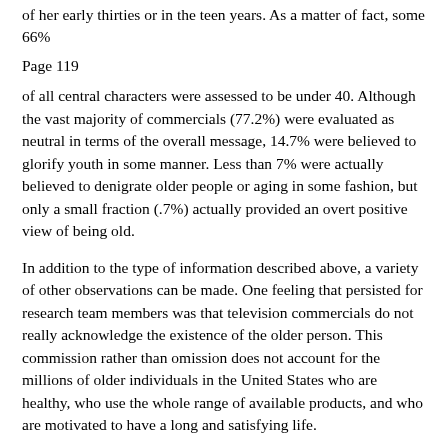of her early thirties or in the teen years. As a matter of fact, some 66%
Page 119
of all central characters were assessed to be under 40. Although the vast majority of commercials (77.2%) were evaluated as neutral in terms of the overall message, 14.7% were believed to glorify youth in some manner. Less than 7% were actually believed to denigrate older people or aging in some fashion, but only a small fraction (.7%) actually provided an overt positive view of being old.
In addition to the type of information described above, a variety of other observations can be made. One feeling that persisted for research team members was that television commercials do not really acknowledge the existence of the older person. This commission rather than omission does not account for the millions of older individuals in the United States who are healthy, who use the whole range of available products, and who are motivated to have a long and satisfying life.
This increasing number of healthy and active people in the 50 and older age range also indicates the considerable purchasing power toward which advertisers could turn their attention. The few suggestions in the literature that manufacturers and companies are beginning to cater to older consumers were not observable in the